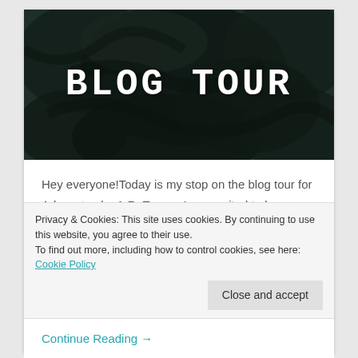[Figure (illustration): Dark textured banner image with mottled dark teal/black background and large white bold monospace text reading BLOG TOUR]
Hey everyone!Today is my stop on the blog tour for Advocatus by A.R. Turner. I am excited to be sharing a spotlight post with you all, so you can learn a little about the book! A massive thank you
Privacy & Cookies: This site uses cookies. By continuing to use this website, you agree to their use.
To find out more, including how to control cookies, see here: Cookie Policy
Close and accept
Continue Reading →